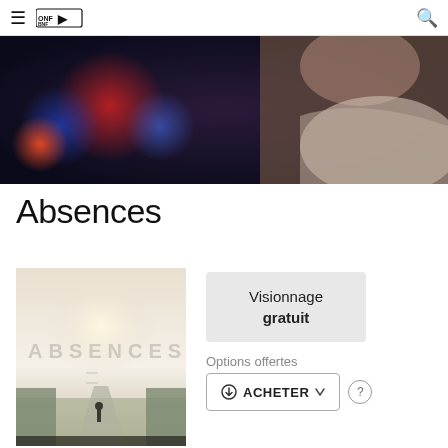≡ ONF/BNF [logo] 🔍
[Figure (photo): Dark cinematic hero image showing a person with bokeh lights in red, blue, and orange tones in the background]
Absences
[Figure (photo): Movie poster for 'Absences' showing a misty road with a lone figure walking, text 'ABSENCES' in faded letters]
Visionnage gratuit
Options offertes
⊕ ACHETER ▾